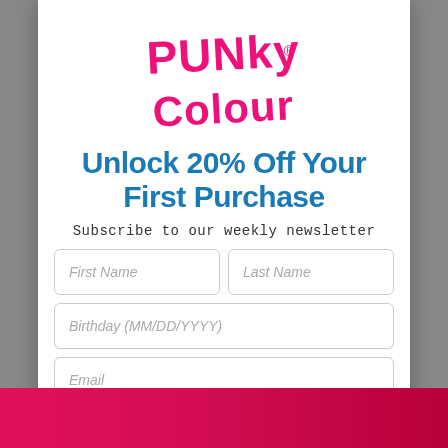[Figure (logo): Punky Colour logo in pink handwritten/graffiti style text]
Unlock 20% Off Your First Purchase
Subscribe to our weekly newsletter
[Figure (screenshot): Form with fields: First Name, Last Name, Birthday (MM/DD/YYYY), Email]